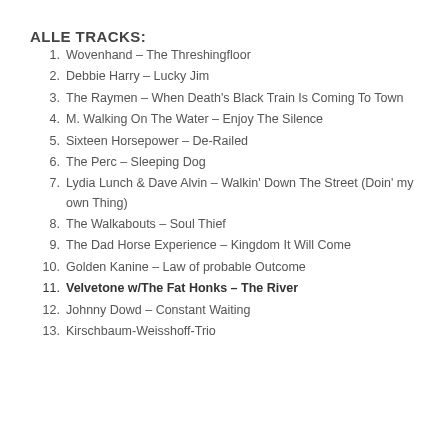ALLE TRACKS:
1. Wovenhand – The Threshingfloor
2. Debbie Harry – Lucky Jim
3. The Raymen – When Death's Black Train Is Coming To Town
4. M. Walking On The Water – Enjoy The Silence
5. Sixteen Horsepower – De-Railed
6. The Perc – Sleeping Dog
7. Lydia Lunch & Dave Alvin – Walkin' Down The Street (Doin' my own Thing)
8. The Walkabouts – Soul Thief
9. The Dad Horse Experience – Kingdom It Will Come
10. Golden Kanine – Law of probable Outcome
11. Velvetone w/The Fat Honks – The River
12. Johnny Dowd – Constant Waiting
13. Kirschbaum-Weisshoff-Trio